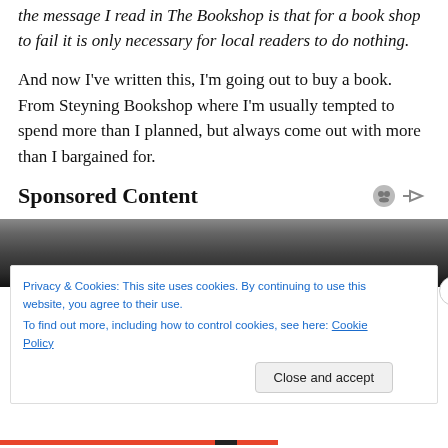the message I read in The Bookshop is that for a book shop to fail it is only necessary for local readers to do nothing.
And now I've written this, I'm going out to buy a book. From Steyning Bookshop where I'm usually tempted to spend more than I planned, but always come out with more than I bargained for.
Sponsored Content
[Figure (photo): Black and white close-up photo of a person's face, partially visible, used as sponsored content advertisement image.]
Privacy & Cookies: This site uses cookies. By continuing to use this website, you agree to their use.
To find out more, including how to control cookies, see here: Cookie Policy
Close and accept